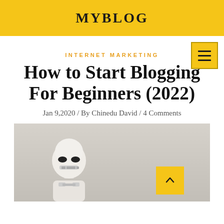MYBLOG
INTERNET MARKETING
How to Start Blogging For Beginners (2022)
Jan 9,2020 / By Chinedu David / 4 Comments
[Figure (photo): Blog post header image showing a Stormtrooper figurine (LEGO-style) against a light gray background. A yellow scroll-to-top button with an upward chevron arrow is overlaid in the lower right area of the image.]